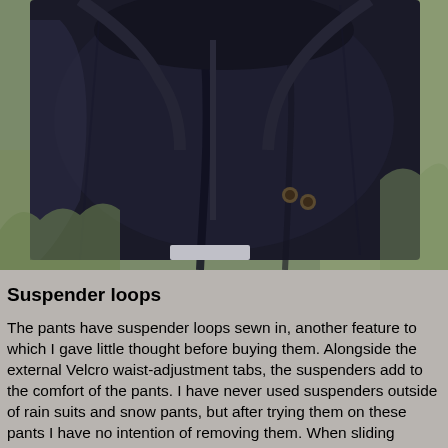[Figure (photo): Close-up photo of dark navy/black outdoor pants and jacket laid out or worn, showing the fabric and construction details, with green vegetation visible in the background.]
Suspender loops
The pants have suspender loops sewn in, another feature to which I gave little thought before buying them. Alongside the external Velcro waist-adjustment tabs, the suspenders add to the comfort of the pants. I have never used suspenders outside of rain suits and snow pants, but after trying them on these pants I have no intention of removing them. When sliding around on a textured seat the suspenders make a noticeable difference in keeping the pants where they should be, even with the more generous cut to the pants.